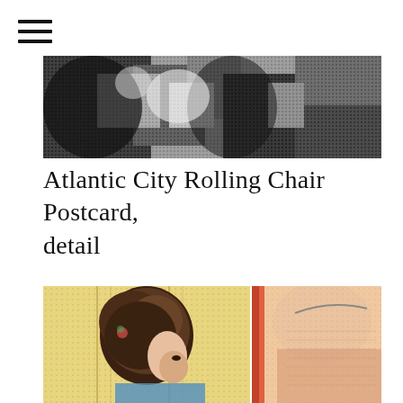[Figure (other): Hamburger menu icon with three horizontal lines]
[Figure (photo): Grayscale halftone detail photograph of Atlantic City Rolling Chair Postcard]
Atlantic City Rolling Chair Postcard, detail
[Figure (illustration): Colorful illustrated postcard detail showing a woman's profile with ornate hair on left side, and another figure in lace clothing on right side]